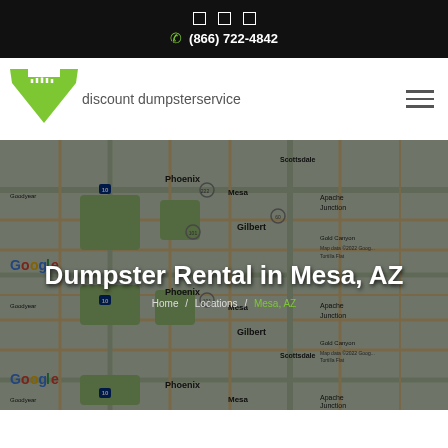(866) 722-4842
[Figure (logo): Discount Dumpster Service logo — green arrow/dumpster icon with company name]
[Figure (map): Google Maps view of Phoenix, Mesa, Scottsdale, Gilbert, Goodyear, Apache Junction, Gold Canyon area in Arizona, used as hero background image]
Dumpster Rental in Mesa, AZ
Home / Locations / Mesa, AZ